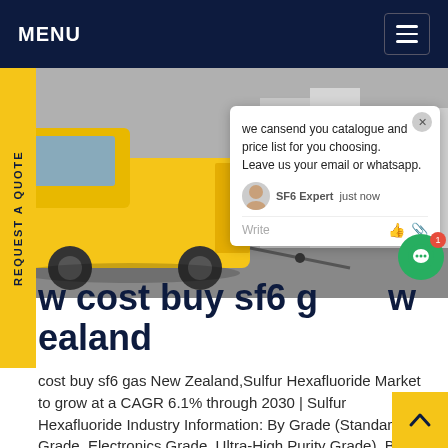MENU
[Figure (photo): Industrial scene showing a yellow service vehicle with open back panels connected to industrial gas equipment at a facility. A chat popup overlay is visible on the right side with message: 'we can send you catalogue and price list for you choosing. Leave us your email or whatsapp.' SF6 Expert | just now]
low cost buy sf6 gas New Zealand
low cost buy sf6 gas New Zealand,Sulfur Hexafluoride Market to grow at a CAGR 6.1% through 2030 | Sulfur Hexafluoride Industry Information: By Grade (Standard Grade, Electronics Grade, Ultra-High Purity Grade), By Application (Power Energy...